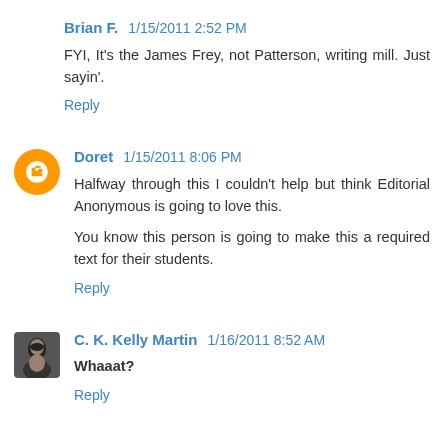Brian F.  1/15/2011 2:52 PM
FYI, It's the James Frey, not Patterson, writing mill. Just sayin'.
Reply
Doret  1/15/2011 8:06 PM
Halfway through this I couldn't help but think Editorial Anonymous is going to love this.

You know this person is going to make this a required text for their students.
Reply
C. K. Kelly Martin  1/16/2011 8:52 AM
Whaaat?
Reply